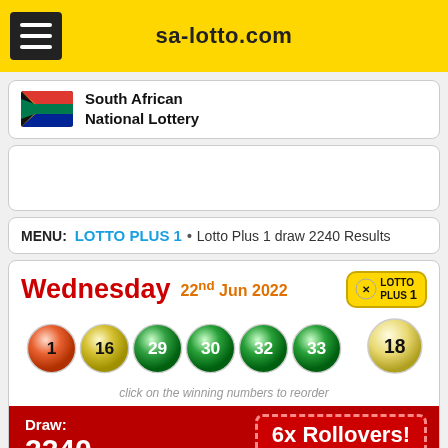sa-lotto.com
[Figure (logo): South African flag icon]
South African National Lottery
[Figure (other): Advertisement placeholder box]
MENU: LOTTO PLUS 1 • Lotto Plus 1 draw 2240 Results
Wednesday 22nd Jun 2022
[Figure (other): Lottery balls showing numbers 1, 16, 29, 30, 32, 33 and bonus ball 18]
click on the winning numbers to reorder
Draw: 2240
6x Rollovers!